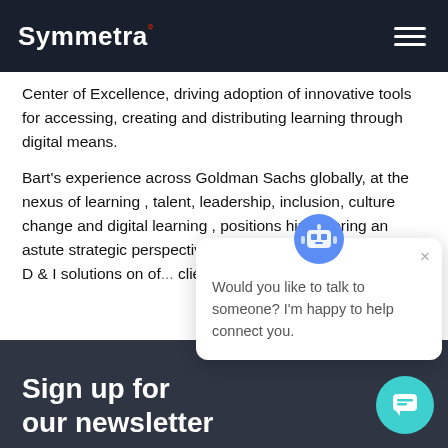Symmetra°
Center of Excellence, driving adoption of innovative tools for accessing, creating and distributing learning through digital means.
Bart's experience across Goldman Sachs globally, at the nexus of learning , talent, leadership, inclusion, culture change and digital learning , positions him to bring an astute strategic perspective to the design of the end to end D & I solutions on of... clients and to leading the...
[Figure (other): Chat bot popup with avatar robot icon and message: Would you like to talk to someone? I'm happy to help connect you. With a close (×) button.]
Sign up for our newsletter
[Figure (other): Teal circular chat button in bottom right corner]